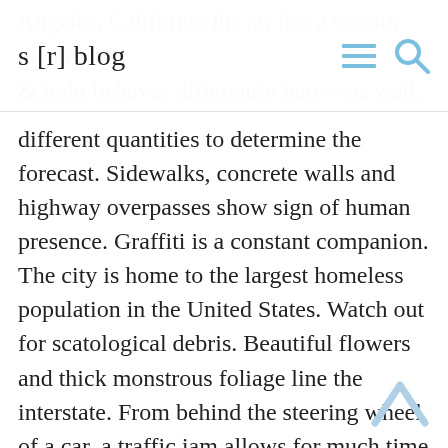s [r] blog
different quantities to determine the forecast. Sidewalks, concrete walls and highway overpasses show sign of human presence. Graffiti is a constant companion. The city is home to the largest homeless population in the United States. Watch out for scatological debris. Beautiful flowers and thick monstrous foliage line the interstate. From behind the steering wheel of a car, a traffic jam allows for much time viewing the ditch and searching for inner stillness.
One summer, I was granted an artist residency in Chinatown. This area is known as DTLA or Downtown Los Angeles. Miles of industrial buildings loom sleepily–warehouses of decommissioned factories begging for the